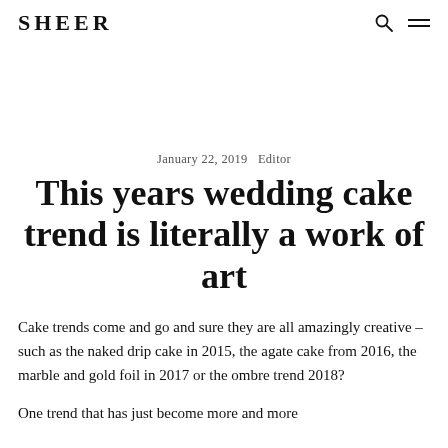SHEER
January 22, 2019   Editor
This years wedding cake trend is literally a work of art
Cake trends come and go and sure they are all amazingly creative – such as the naked drip cake in 2015, the agate cake from 2016, the marble and gold foil in 2017 or the ombre trend 2018?
One trend that has just become more and more